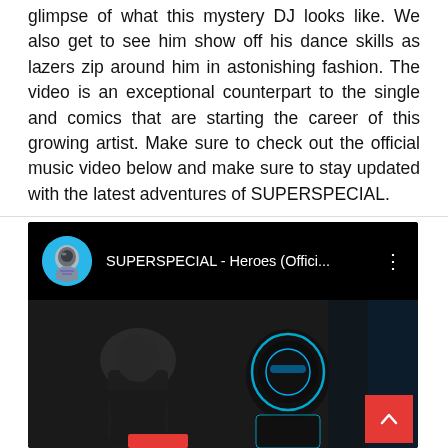glimpse of what this mystery DJ looks like. We also get to see him show off his dance skills as lazers zip around him in astonishing fashion. The video is an exceptional counterpart to the single and comics that are starting the career of this growing artist. Make sure to check out the official music video below and make sure to stay updated with the latest adventures of SUPERSPECIAL.
[Figure (screenshot): YouTube video embed showing 'SUPERSPECIAL - Heroes (Offici...' with a circular avatar of a masked superhero character in blue, video title bar on black background, and a dark music video thumbnail below showing a silhouetted figure and a helmeted character in white. A red scroll-to-top button is visible in the bottom-right corner.]